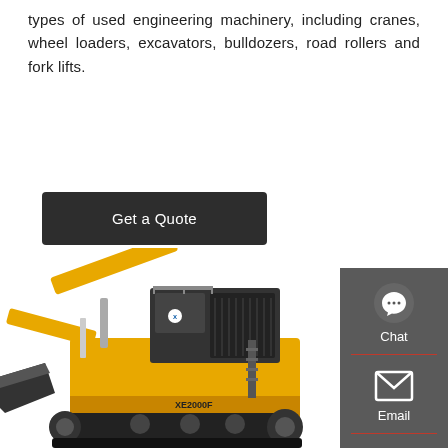types of used engineering machinery, including cranes, wheel loaders, excavators, bulldozers, road rollers and fork lifts.
Get a Quote
[Figure (photo): Large yellow hydraulic mining excavator (XCMG XE2000F) with black track undercarriage, shown in profile view on white background.]
[Figure (infographic): Right-side contact sidebar with Chat (headset icon), Email (envelope icon), and Contact (speech bubble icon) options on dark grey background.]